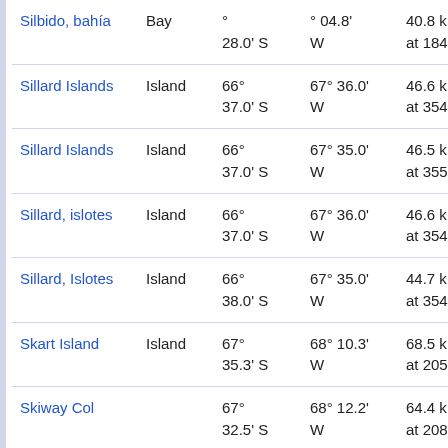| Name | Type | Latitude | Longitude | Distance |
| --- | --- | --- | --- | --- |
| Silbido, bahía | Bay | ° 28.0' S | ° 04.8' W | 40.8 k at 184 |
| Sillard Islands | Island | 66° 37.0' S | 67° 36.0' W | 46.6 k at 354 |
| Sillard Islands | Island | 66° 37.0' S | 67° 35.0' W | 46.5 k at 355 |
| Sillard, islotes | Island | 66° 37.0' S | 67° 36.0' W | 46.6 k at 354 |
| Sillard, Islotes | Island | 66° 38.0' S | 67° 35.0' W | 44.7 k at 354 |
| Skart Island | Island | 67° 35.3' S | 68° 10.3' W | 68.5 k at 205 |
| Skiway Col |  | 67° 32.5' S | 68° 12.2' W | 64.4 k at 208 |
| Solitario Island | Island | 67° 52.0' S | 68° 26.0' W | 101.1 k at 203 |